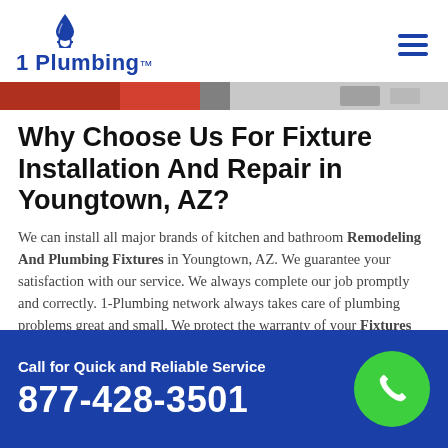1 Plumbing
[Figure (photo): Partial hero banner image strip showing building/plumbing scene]
Why Choose Us For Fixture Installation And Repair in Youngtown, AZ?
We can install all major brands of kitchen and bathroom Remodeling And Plumbing Fixtures in Youngtown, AZ. We guarantee your satisfaction with our service. We always complete our job promptly and correctly. 1-Plumbing network always takes care of plumbing problems great and small. We protect the warranty of your Fixtures And
Call for Quick and Reliable Service
877-428-3501